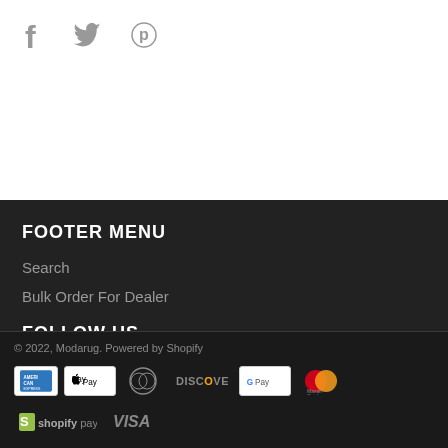[Figure (illustration): Social media icons: Facebook (f), Twitter (bird), Pinterest (p) in gray on white background]
FOOTER MENU
Search
Bulk Order For Dealer
FOLLOW US
© 2022, Modarug. Powered by Shopify
[Figure (illustration): Payment method icons: American Express, Apple Pay, Diners Club, Discover, Google Pay, MasterCard, Shopify Pay, Visa]